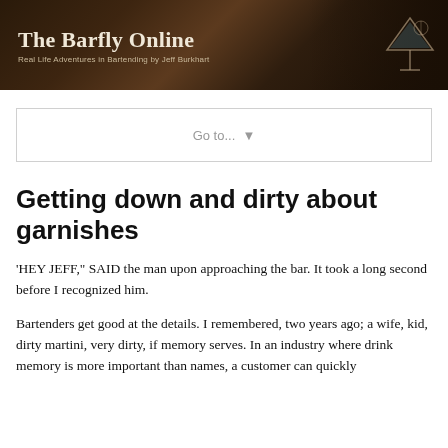The Barfly Online — Real Life Adventures in Bartending by Jeff Burkhart
Go to... ▼
Getting down and dirty about garnishes
'HEY JEFF," SAID the man upon approaching the bar. It took a long second before I recognized him.
Bartenders get good at the details. I remembered, two years ago; a wife, kid, dirty martini, very dirty, if memory serves. In an industry where drink memory is more important than names, a customer can quickly